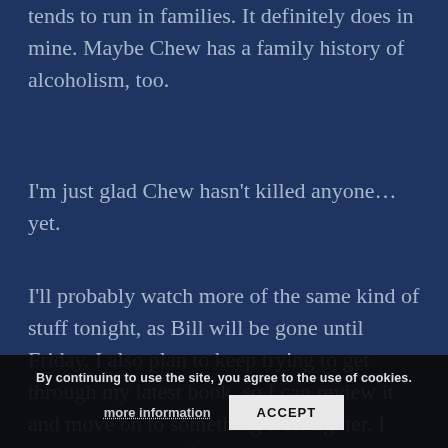tends to run in families. It definitely does in mine. Maybe Chew has a family history of alcoholism, too.
I'm just glad Chew hasn't killed anyone… yet.
I'll probably watch more of the same kind of stuff tonight, as Bill will be gone until Friday. I also plan to keep trying to get through my latest book, so I can review it and move on to something a bit lighter. I could use a break from the doom and gloom flooding the airwaves these days.
By continuing to use the site, you agree to the use of cookies. more information   ACCEPT